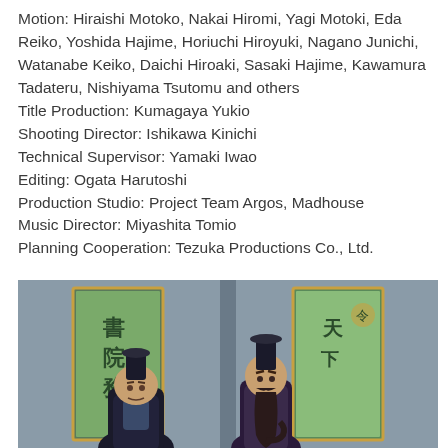Motion: Hiraishi Motoko, Nakai Hiromi, Yagi Motoki, Eda Reiko, Yoshida Hajime, Horiuchi Hiroyuki, Nagano Junichi, Watanabe Keiko, Daichi Hiroaki, Sasaki Hajime, Kawamura Tadateru, Nishiyama Tsutomu and others
Title Production: Kumagaya Yukio
Shooting Director: Ishikawa Kinichi
Technical Supervisor: Yamaki Iwao
Editing: Ogata Harutoshi
Production Studio: Project Team Argos, Madhouse
Music Director: Miyashita Tomio
Planning Cooperation: Tezuka Productions Co., Ltd.
[Figure (illustration): Anime screenshot showing two characters in traditional Asian court attire. Left character is a shorter, stout figure in dark robes bowing or hunched, with a decorative painted screen behind. Right character is a taller figure with a long beard wearing dark robes, also with a painted screen behind. Scene appears to be from a historical anime production.]